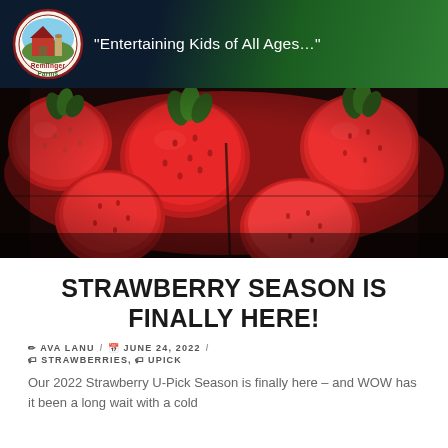Remlinger Farms – "Entertaining Kids of All Ages..."
[Figure (photo): Close-up photograph of many large, ripe red strawberries piled together]
STRAWBERRY SEASON IS FINALLY HERE!
✏ AVA LANU / 📅 JUNE 24, 2022 / 🏷 STRAWBERRIES, 🏷 UPICK
Our 2022 Strawberry U-Pick Season is finally here – and WOW has it been a long wait with a cold...